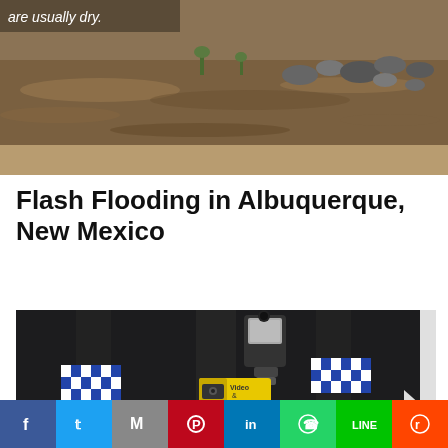[Figure (photo): Flash flooding scene with muddy brown water rushing through a normally dry area with rocks and sparse vegetation visible, partial text 'are usually dry.' in top-left corner]
Flash Flooding in Albuquerque, New Mexico
[Figure (photo): Close-up of a police officer in dark uniform with a body-worn camera attached to chest vest, checkered police badge patches on shoulders, yellow 'Video & Audio' label, and POLICE badge visible at bottom]
[Figure (infographic): Social media sharing bar with icons for Facebook, Twitter, Gmail/Email (M), Pinterest, LinkedIn, WhatsApp, LINE, and Reddit]